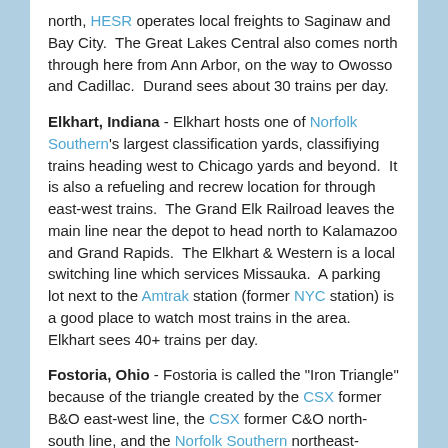north, HESR operates local freights to Saginaw and Bay City. The Great Lakes Central also comes north through here from Ann Arbor, on the way to Owosso and Cadillac. Durand sees about 30 trains per day.
Elkhart, Indiana - Elkhart hosts one of Norfolk Southern's largest classification yards, classifiying trains heading west to Chicago yards and beyond. It is also a refueling and recrew location for through east-west trains. The Grand Elk Railroad leaves the main line near the depot to head north to Kalamazoo and Grand Rapids. The Elkhart & Western is a local switching line which services Missauka. A parking lot next to the Amtrak station (former NYC station) is a good place to watch most trains in the area. Elkhart sees 40+ trains per day.
Fostoria, Ohio - Fostoria is called the "Iron Triangle" because of the triangle created by the CSX former B&O east-west line, the CSX former C&O north-south line, and the Norfolk Southern northeast-southwest line. The City has established a public park within the triangle which has picnic and restroom facilities. It is a safe place to watch activity on all three routes, which can add up to 75 trains per day.
Grand Rapids - This terminal is slower than in previous years but train movements can still be seen. Amtrak originates one train each way per day from the depot near downtown. The CSX...